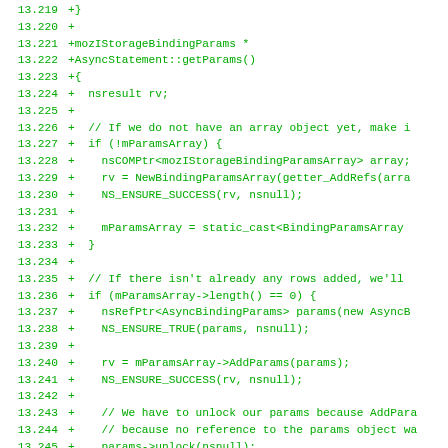Code diff showing lines 13.219 through 13.250 of a C++ source file, displaying the getParams() method of AsyncStatement class with mozIStorageBindingParams return type.